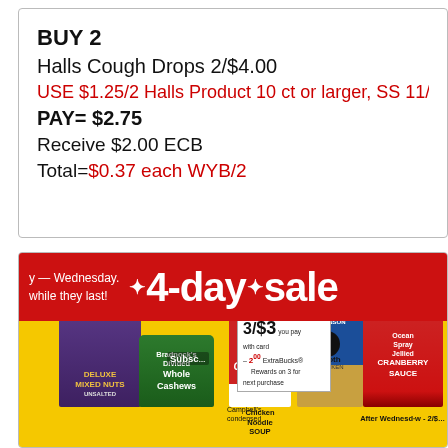BUY 2
Halls Cough Drops 2/$4.00
USE $1.25/2 Halls Product 10 ct or larger, SS 11/0
PAY= $2.75
Receive $2.00 ECB
Total=$0.37 each WYB/2
[Figure (photo): CVS 4-day sale advertisement showing Gold Emblem Deluxe Mixed Nuts, Whole Cashews, Campbell's Chicken Noodle Soup, Swanson Broth, and Ocean Spray Jellied Cranberry Sauce products on a yellow background with red sale banner. Price box shows 3/$3 with card, -$2.00 ExtraBucks Rewards on 3 for next purchase. After Wednesday 2/$.]